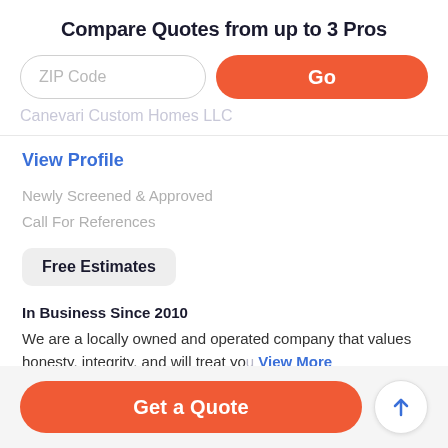Compare Quotes from up to 3 Pros
ZIP Code
Go
Canevari Custom Homes LLC
View Profile
Newly Screened & Approved
Call For References
Free Estimates
In Business Since 2010
We are a locally owned and operated company that values honesty, integrity, and will treat yo… View More
Get a Quote